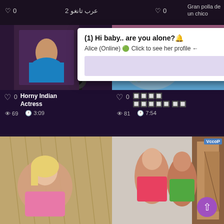[Figure (screenshot): Adult video website screenshot showing a grid of video thumbnails with like counts, view counts, and durations. An overlay popup notification reads '(1) Hi baby.. are you alone?' from Alice (Online). Top bar shows Arabic text 'عرب تانغو 2' and counts. Video cards show titles: 'Horny Indian Actress' (69 views, 3:09), and censored title (81 views, 7:54). Bottom row shows two more video thumbnails.]